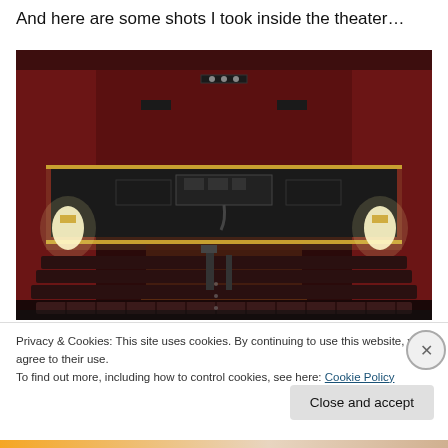And here are some shots I took inside the theater…
[Figure (photo): Interior of a theater showing rows of dark seats, a balcony level with audio/lighting equipment, red walls, wall sconces, and a stage area in the background.]
Privacy & Cookies: This site uses cookies. By continuing to use this website, you agree to their use.
To find out more, including how to control cookies, see here: Cookie Policy
Close and accept